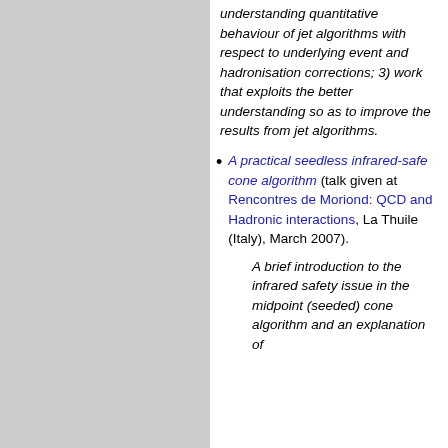understanding quantitative behaviour of jet algorithms with respect to underlying event and hadronisation corrections; 3) work that exploits the better understanding so as to improve the results from jet algorithms.
A practical seedless infrared-safe cone algorithm (talk given at Rencontres de Moriond: QCD and Hadronic interactions, La Thuile (Italy), March 2007).
A brief introduction to the infrared safety issue in the midpoint (seeded) cone algorithm and an explanation of